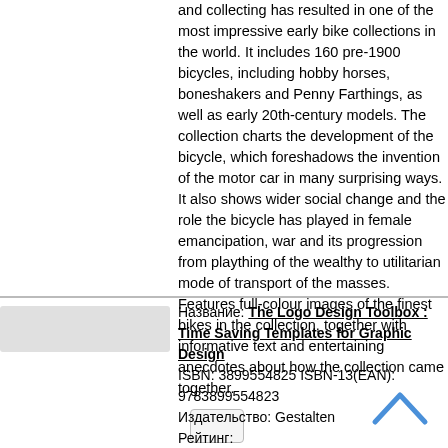and collecting has resulted in one of the most impressive early bike collections in the world. It includes 160 pre-1900 bicycles, including hobby horses, boneshakers and Penny Farthings, as well as early 20th-century models. The collection charts the development of the bicycle, which foreshadows the invention of the motor car in many surprising ways. It also shows wider social change and the role the bicycle has played in female emancipation, war and its progression from plaything of the wealthy to utilitarian mode of transport of the masses. Features full-colour images of the finest bikes in the collection, together with informative text and entertaining anecdotes about how the collection came together.
Название: The Logo Design Toolbox : Time Saving Templates for Graphic Design
ISBN: 3899554825 ISBN-13(EAN): 9783899554823
Издательство: Gestalten
Рейтинг:
Цена: 4043 р.
Наличие на складе: Нет в наличии.